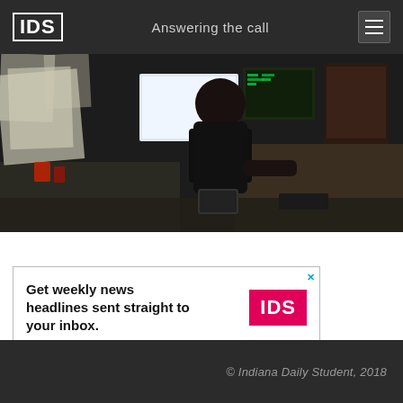IDS — Answering the call
[Figure (photo): A person sitting in front of multiple computer monitors at a dark dispatch or operations desk with papers, phones, and equipment surrounding them. Viewed from behind in low light.]
[Figure (infographic): Advertisement banner: 'Get weekly news headlines sent straight to your inbox.' with IDS logo in pink/red on the right and a close (x) button.]
© Indiana Daily Student, 2018